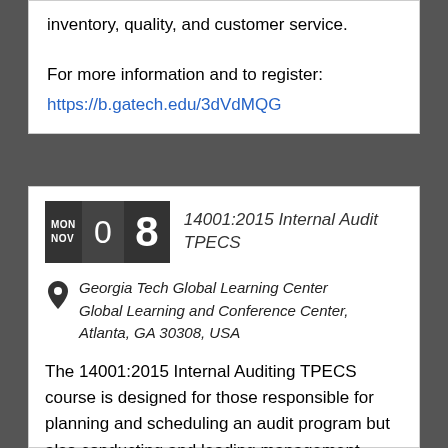inventory, quality, and customer service.
For more information and to register:
https://b.gatech.edu/3dVdMQG
14001:2015 Internal Audit TPECS
Georgia Tech Global Learning Center Global Learning and Conference Center, Atlanta, GA 30308, USA
The 14001:2015 Internal Auditing TPECS course is designed for those responsible for planning and scheduling an audit program but also conducting and leading management system audits for an environmental management system.